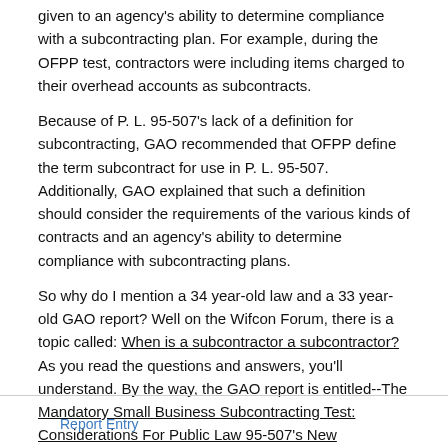given to an agency's ability to determine compliance with a subcontracting plan. For example, during the OFPP test, contractors were including items charged to their overhead accounts as subcontracts.
Because of P. L. 95-507's lack of a definition for subcontracting, GAO recommended that OFPP define the term subcontract for use in P. L. 95-507. Additionally, GAO explained that such a definition should consider the requirements of the various kinds of contracts and an agency's ability to determine compliance with subcontracting plans.
So why do I mention a 34 year-old law and a 33 year-old GAO report? Well on the Wifcon Forum, there is a topic called: When is a subcontractor a subcontractor? As you read the questions and answers, you'll understand. By the way, the GAO report is entitled--The Mandatory Small Business Subcontracting Test: Considerations For Public Law 95-507's New Subcontracting Program.
Report Entry